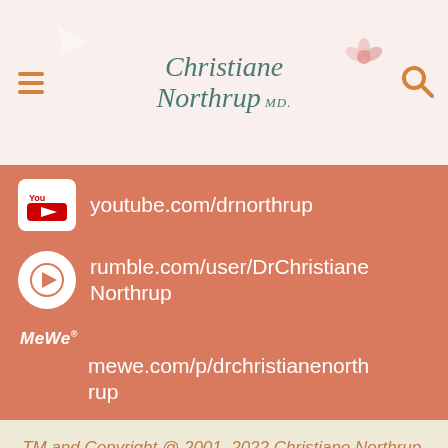Christiane Northrup MD
youtube.com/drnorthrup
rumble.com/user/DrChristianeNorthrup
mewe.com/p/drchristianenorthrup
TM and Copyright @ 2001–2022 Christiane Northrup, Inc. All rights reserved. Reproduction in whole or in part without permission is prohibited.